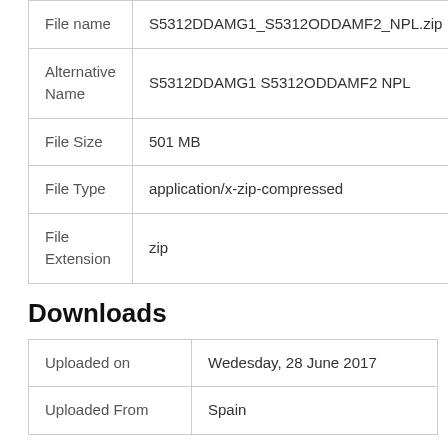| File name | S5312DDAMG1_S5312ODDAMF2_NPL.zip |
| Alternative Name | S5312DDAMG1 S5312ODDAMF2 NPL |
| File Size | 501 MB |
| File Type | application/x-zip-compressed |
| File Extension | zip |
Downloads
| Uploaded on | Wedesday, 28 June 2017 |
| Uploaded From | Spain |